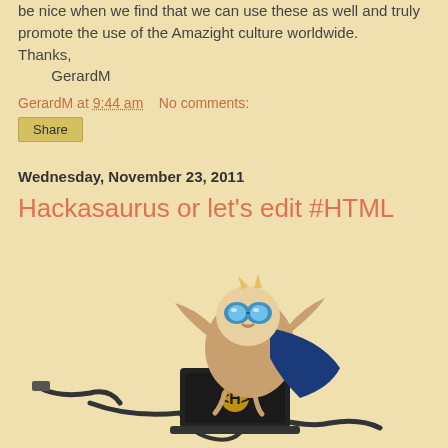be nice when we find that we can use these as well and truly promote the use of the Amazight culture worldwide.
Thanks,
        GerardM
GerardM at 9:44 am    No comments:
Share
Wednesday, November 23, 2011
Hackasaurus or let's edit #HTML
[Figure (illustration): Hackasaurus mascot: a cartoon owl-like superhero creature wearing goggles and a blue cape, sitting on a black laptop with an H badge, with USB cables scattered around]